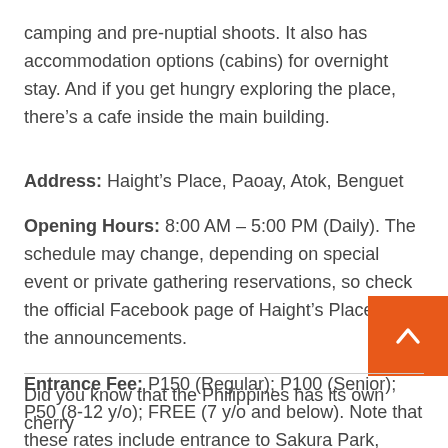camping and pre-nuptial shoots. It also has accommodation options (cabins) for overnight stay. And if you get hungry exploring the place, there's a cafe inside the main building.
Address: Haight's Place, Paoay, Atok, Benguet
Opening Hours: 8:00 AM – 5:00 PM (Daily). The schedule may change, depending on special event or private gathering reservations, so check the official Facebook page of Haight's Place for the announcements.
Entrance Fee: P150 (Regular); P100 (Senior); P50 (8-12 y/o); FREE (7 y/o and below). Note that these rates include entrance to Sakura Park, Environmental Fee, and Maintenance Fee.
Did you know that the Philippines has its own cherry